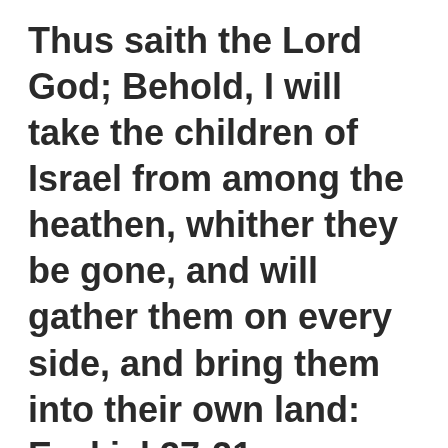Thus saith the Lord God; Behold, I will take the children of Israel from among the heathen, whither they be gone, and will gather them on every side, and bring them into their own land: Ezekiel 37:21
16 Therefore say, Thus saith the Lord God;